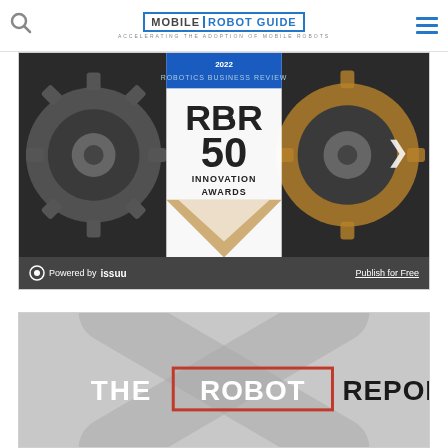MOBILE ROBOT GUIDE — Accelerating the adoption of mobile robots
[Figure (screenshot): Issuu embedded document viewer showing the 2022 Robotics Business Review RBR 50 Innovation Awards magazine cover, with gears background, RBR 50 logo, and 'INNOVATION AWARDS' text. A right chevron navigation arrow is visible. Footer shows 'Powered by issuu' and 'Publish for Free'.]
[Figure (screenshot): Partial view of 'THE ROBOT REPORT' logo on a grey background with a large X graphic behind it. The Robot Report text is shown with 'ROBOT' in red/crimson outlined box and 'REPORT' in bold.]